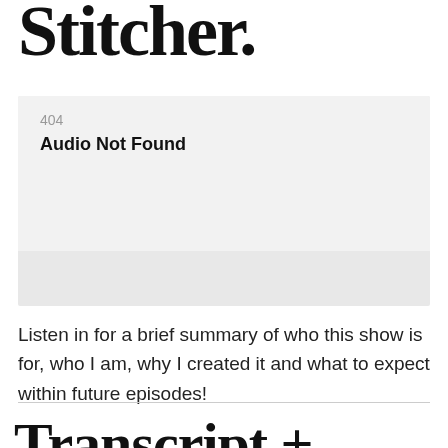Stitcher.
[Figure (screenshot): Error box with light gray background showing error code 404 and bold text 'Audio Not Found']
Listen in for a brief summary of who this show is for, who I am, why I created it and what to expect within future episodes!
Transcript +